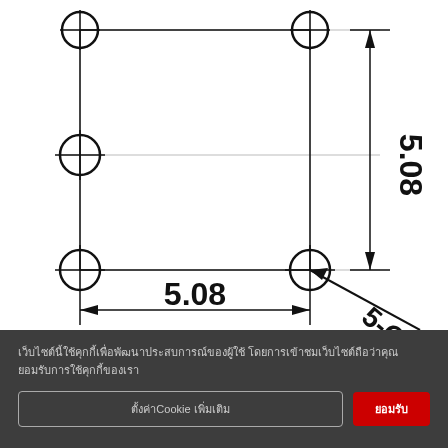[Figure (engineering-diagram): Technical/engineering drawing showing a 2x3 grid of through-holes (circles with crosshairs) with dimension annotations: vertical dimension 5.08, horizontal dimension 5.08, and hole callout 5-Ø1.0]
Thai text cookie consent notice with Cookie settings button and accept button